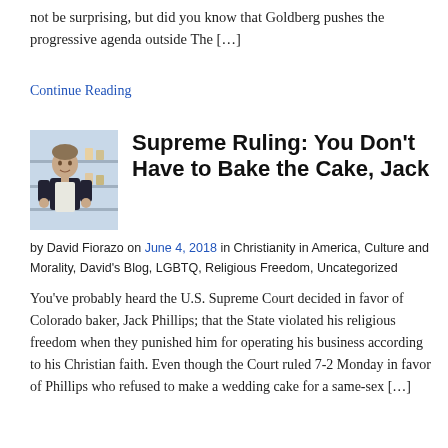not be surprising, but did you know that Goldberg pushes the progressive agenda outside The […]
Continue Reading
[Figure (photo): Photo of a man, presumably Jack Phillips, standing in a bakery setting wearing a dark shirt and white apron.]
Supreme Ruling: You Don't Have to Bake the Cake, Jack
by David Fiorazo on June 4, 2018 in Christianity in America, Culture and Morality, David's Blog, LGBTQ, Religious Freedom, Uncategorized
You've probably heard the U.S. Supreme Court decided in favor of Colorado baker, Jack Phillips; that the State violated his religious freedom when they punished him for operating his business according to his Christian faith. Even though the Court ruled 7-2 Monday in favor of Phillips who refused to make a wedding cake for a same-sex […]